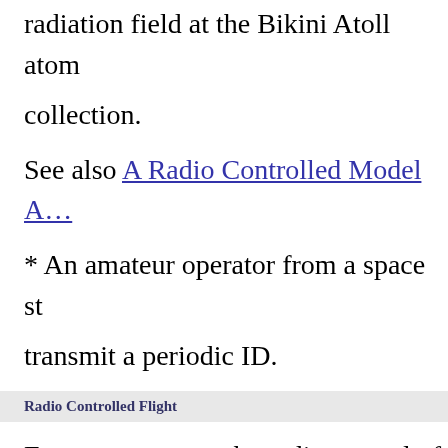radiation field at the Bikini Atoll atom... collection.
See also A Radio Controlled Model A...
* An amateur operator from a space st... transmit a periodic ID.
Radio Controlled Flight
For peace or war, the radio control of a... marks a new era in aviation history.
Editor's Note: Since the recent appear...